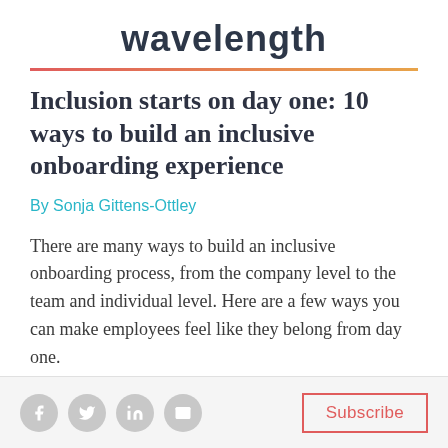wavelength
Inclusion starts on day one: 10 ways to build an inclusive onboarding experience
By Sonja Gittens-Ottley
There are many ways to build an inclusive onboarding process, from the company level to the team and individual level. Here are a few ways you can make employees feel like they belong from day one.
Subscribe